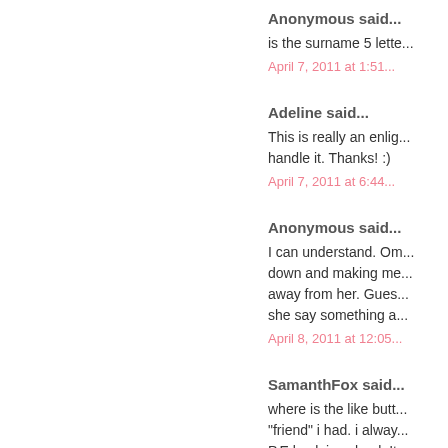Anonymous said...
is the surname 5 lette...
April 7, 2011 at 1:51...
Adeline said...
This is really an enlig... handle it. Thanks! :)
April 7, 2011 at 6:44...
Anonymous said...
I can understand. Om... down and making me... away from her. Gues... she say something a...
April 8, 2011 at 12:05...
SamanthFox said...
where is the like butt... "friend" i had. i alway... P.E back in school. It...